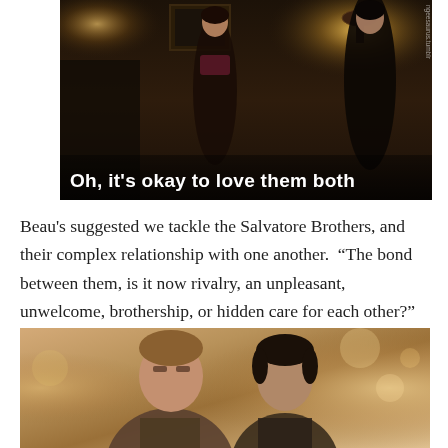[Figure (photo): Dark TV show screenshot showing two female figures in a dimly lit room. A subtitle reads 'Oh, it's okay to love them both'. A watermark reads 'ngeesaurus.tumblr' vertically on the right.]
Beau's suggested we tackle the Salvatore Brothers, and their complex relationship with one another.  “The bond between them, is it now rivalry, an unpleasant, unwelcome, brothership, or hidden care for each other?”
[Figure (photo): Sepia-toned TV show screenshot showing two male figures facing each other, likely the Salvatore Brothers from The Vampire Diaries. Bokeh background with warm amber tones.]